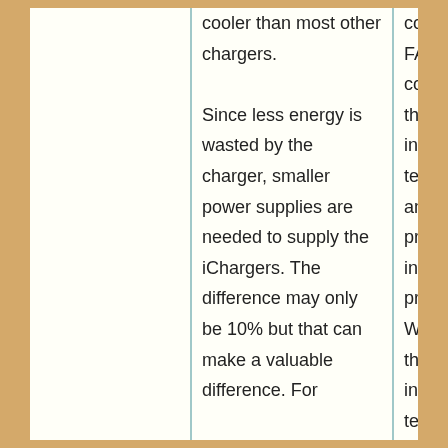cooler than most other chargers. Since less energy is wasted by the charger, smaller power supplies are needed to supply the iChargers. The difference may only be 10% but that can make a valuable difference. For
cooling FAN controls the internal temperature and provides intelligent protection. When the internal temperature is over 60°C(140 oF), the output power is automatical